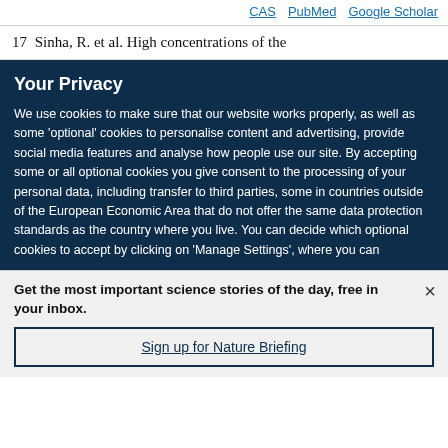CAS  PubMed  Google Scholar
17  Sinha, R. et al. High concentrations of the
Your Privacy
We use cookies to make sure that our website works properly, as well as some ‘optional’ cookies to personalise content and advertising, provide social media features and analyse how people use our site. By accepting some or all optional cookies you give consent to the processing of your personal data, including transfer to third parties, some in countries outside of the European Economic Area that do not offer the same data protection standards as the country where you live. You can decide which optional cookies to accept by clicking on ‘Manage Settings’, where you can
Get the most important science stories of the day, free in your inbox.
Sign up for Nature Briefing